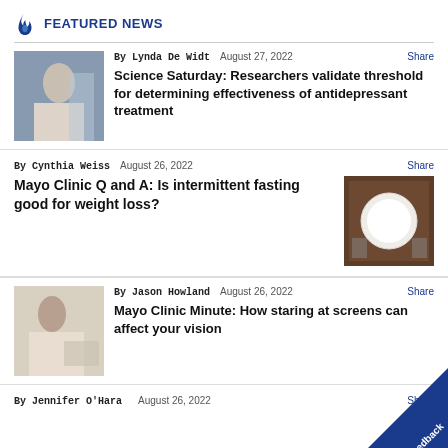FEATURED NEWS
By Lynda De Widt   August 27, 2022   Share
Science Saturday: Researchers validate threshold for determining effectiveness of antidepressant treatment
By Cynthia Weiss   August 26, 2022   Share
Mayo Clinic Q and A: Is intermittent fasting good for weight loss?
By Jason Howland   August 26, 2022   Share
Mayo Clinic Minute: How staring at screens can affect your vision
By Jennifer O'Hara   August 26, 2022   Share